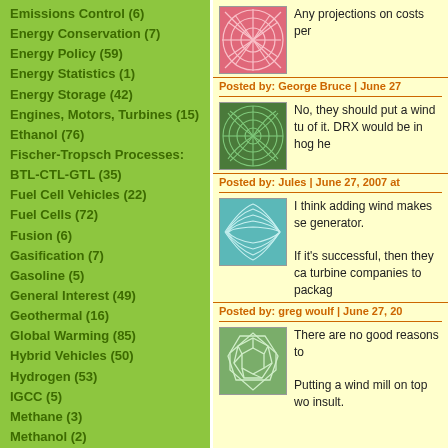Emissions Control (6)
Energy Conservation (7)
Energy Policy (59)
Energy Statistics (1)
Energy Storage (42)
Engines, Motors, Turbines (15)
Ethanol (76)
Fischer-Tropsch Processes: BTL-CTL-GTL (35)
Fuel Cell Vehicles (22)
Fuel Cells (72)
Fusion (6)
Gasification (7)
Gasoline (5)
General Interest (49)
Geothermal (16)
Global Warming (85)
Hybrid Vehicles (50)
Hydrogen (53)
IGCC (5)
Methane (3)
Methanol (2)
Natural Gas (19)
Any projections on costs per
Posted by: George Bruce | June 27
No, they should put a wind tu of it. DRX would be in hog he
Posted by: Jules | June 27, 2007 at
I think adding wind makes se generator.

If it's successful, then they ca turbine companies to packag
Posted by: greg woulf | June 27, 20
There are no good reasons to

Putting a wind mill on top wo insult.